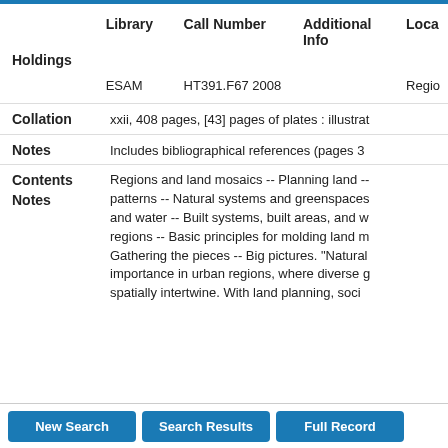|  | Library | Call Number | Additional Info | Loca… |
| --- | --- | --- | --- | --- |
| Holdings | ESAM | HT391.F67 2008 |  | Regio… |
Collation: xxii, 408 pages, [43] pages of plates : illustrat…
Notes: Includes bibliographical references (pages 3…
Contents Notes: Regions and land mosaics -- Planning land -- patterns -- Natural systems and greenspaces and water -- Built systems, built areas, and w… regions -- Basic principles for molding land m… Gathering the pieces -- Big pictures. "Natural importance in urban regions, where diverse g… spatially intertwine. With land planning, soci…
New Search | Search Results | Full Record